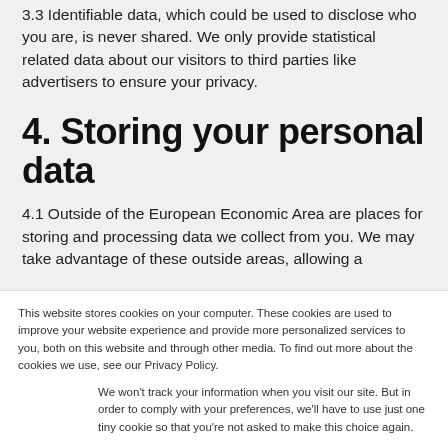3.3 Identifiable data, which could be used to disclose who you are, is never shared. We only provide statistical related data about our visitors to third parties like advertisers to ensure your privacy.
4. Storing your personal data
4.1 Outside of the European Economic Area are places for storing and processing data we collect from you. We may take advantage of these outside areas, allowing a
This website stores cookies on your computer. These cookies are used to improve your website experience and provide more personalized services to you, both on this website and through other media. To find out more about the cookies we use, see our Privacy Policy.
We won't track your information when you visit our site. But in order to comply with your preferences, we'll have to use just one tiny cookie so that you're not asked to make this choice again.